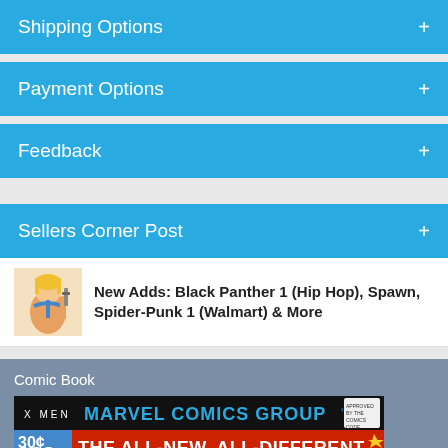Shipping Options +
Payment Options +
Feedback +
Sellers Corner Post +
New Adds: Black Panther 1 (Hip Hop), Spawn, Spider-Punk 1 (Walmart) & More
Comic Book
[Figure (photo): Marvel Comics Group X-Men #103 comic book cover, showing 30 cents, Feb, issue 103, The All-New, All-Different X-Men title in large yellow letters on red/orange background]